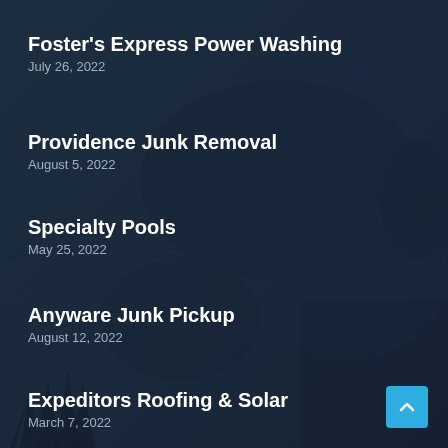Foster's Express Power Washing
July 26, 2022
Providence Junk Removal
August 5, 2022
Specialty Pools
May 25, 2022
Anyware Junk Pickup
August 12, 2022
Expeditors Roofing & Solar
March 7, 2022